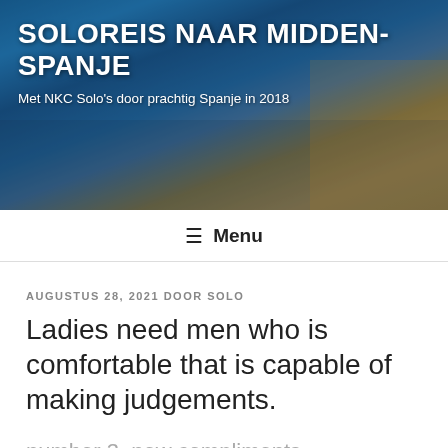[Figure (photo): Website header banner showing a nighttime city square (likely Salamanca, Spain) with illuminated historic buildings and wet pavement reflections, with a blue-gold atmospheric tone.]
SOLOREIS NAAR MIDDEN-SPANJE
Met NKC Solo's door prachtig Spanje in 2018
≡ Menu
AUGUSTUS 28, 2021 DOOR SOLO
Ladies need men who is comfortable that is capable of making judgements.
number 3. new compliments
It seems that the ...